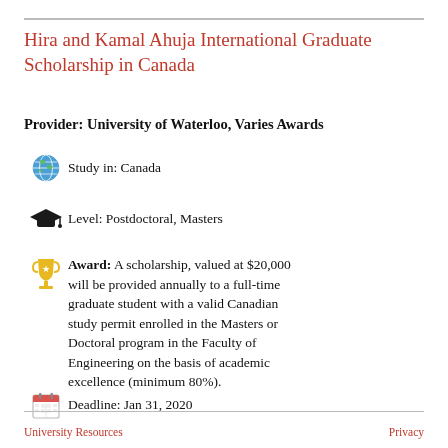Hira and Kamal Ahuja International Graduate Scholarship in Canada
Provider: University of Waterloo, Varies Awards
Study in: Canada
Level: Postdoctoral, Masters
Award: A scholarship, valued at $20,000 will be provided annually to a full-time graduate student with a valid Canadian study permit enrolled in the Masters or Doctoral program in the Faculty of Engineering on the basis of academic excellence (minimum 80%).
Deadline: Jan 31, 2020
University Resources | Privacy